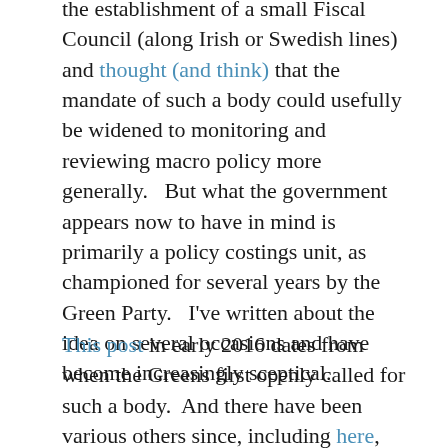the establishment of a small Fiscal Council (along Irish or Swedish lines) and thought (and think) that the mandate of such a body could usefully be widened to monitoring and reviewing macro policy more generally.   But what the government appears now to have in mind is primarily a policy costings unit, as championed for several years by the Green Party.   I've written about the idea on several occasions and have become increasingly sceptical.
This post in early 2016 dates from when the Greens first openly called for such a body.  And there have been various others since, including here, here, and here.   There was a Treasury-